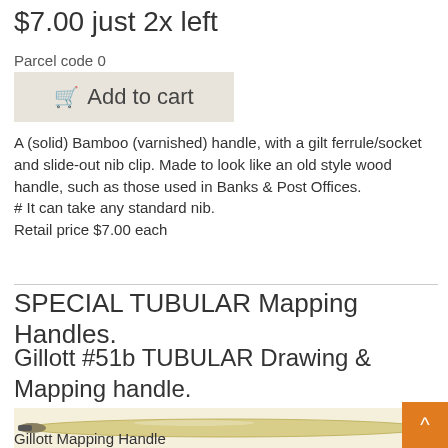$7.00 just 2x left
Parcel code 0
[Figure (other): Add to cart button with shopping cart icon]
A (solid) Bamboo (varnished) handle, with a gilt ferrule/socket and slide-out nib clip. Made to look like an old style wood handle, such as those used in Banks & Post Offices.
# It can take any standard nib.
Retail price $7.00 each
SPECIAL TUBULAR Mapping Handles.
Gillott #51b TUBULAR Drawing & Mapping handle.
[Figure (photo): Image of a Gillott Mapping Handle — a long slender tubular writing handle in cream/gold color with a dark metal tip]
Gillott Mapping Handle